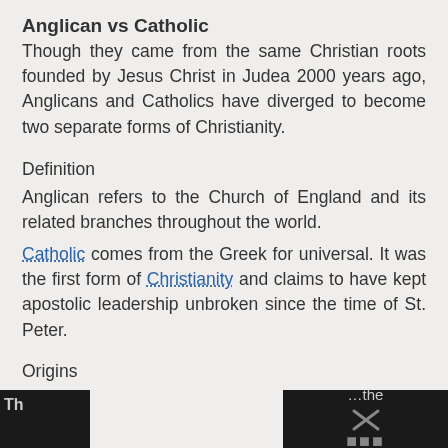Anglican vs Catholic
Though they came from the same Christian roots founded by Jesus Christ in Judea 2000 years ago, Anglicans and Catholics have diverged to become two separate forms of Christianity.
Definition
Anglican refers to the Church of England and its related branches throughout the world.
Catholic comes from the Greek for universal. It was the first form of Christianity and claims to have kept apostolic leadership unbroken since the time of St. Peter.
Origins
Th... ...the